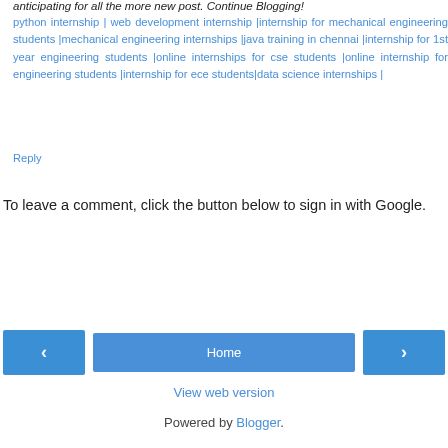anticipating for all the more new post. Continue Blogging!
python internship | web development internship |internship for mechanical engineering students |mechanical engineering internships |java training in chennai |internship for 1st year engineering students |online internships for cse students |online internship for engineering students |internship for ece students|data science internships |
Reply
To leave a comment, click the button below to sign in with Google.
[Figure (other): SIGN IN WITH GOOGLE button - blue rectangular button]
[Figure (other): Navigation bar with left arrow, Home button, right arrow]
View web version
Powered by Blogger.